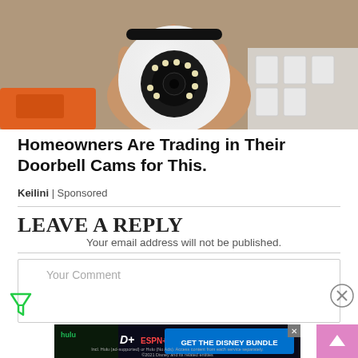[Figure (photo): A hand holding a white spherical PTZ security camera with LED ring, with orange tool and white camera units in background]
Homeowners Are Trading in Their Doorbell Cams for This.
Keilini | Sponsored
LEAVE A REPLY
Your email address will not be published.
Your Comment
[Figure (screenshot): Disney Bundle advertisement banner with Hulu, Disney+, ESPN+ logos and GET THE DISNEY BUNDLE button]